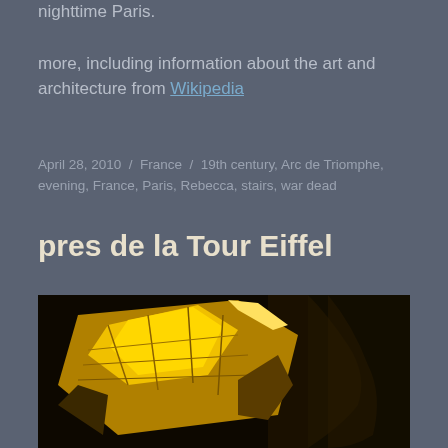nighttime Paris.
more, including information about the art and architecture from Wikipedia
April 28, 2010  /  France  /  19th century, Arc de Triomphe, evening, France, Paris, Rebecca, stairs, war dead
pres de la Tour Eiffel
[Figure (photo): Close-up photograph of a golden metallic sculpture or architectural detail near the Eiffel Tower, showing geometric faceted gold surfaces against a dark background.]